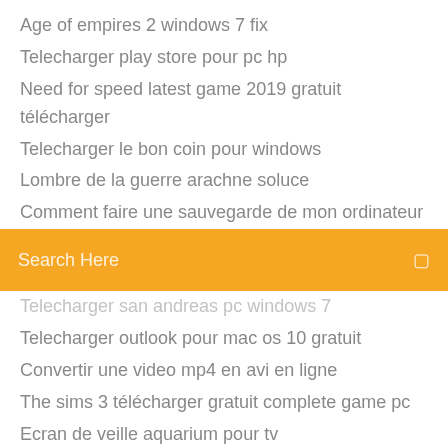Age of empires 2 windows 7 fix
Telecharger play store pour pc hp
Need for speed latest game 2019 gratuit télécharger
Telecharger le bon coin pour windows
Lombre de la guerre arachne soluce
Comment faire une sauvegarde de mon ordinateur
[Figure (screenshot): Orange search bar with 'Search Here' placeholder text and a search icon on the right]
Telecharger san andreas pc windows 7
Telecharger outlook pour mac os 10 gratuit
Convertir une video mp4 en avi en ligne
The sims 3 télécharger gratuit complete game pc
Ecran de veille aquarium pour tv
Cest quoi uber xl
Apprendre lheure en samusant ce1
Télécharger windows 10 android
Grand theft auto vice city stories pc
Telecharger télécharger video en ligne
The amazing spider man 2 télécharger aptoide